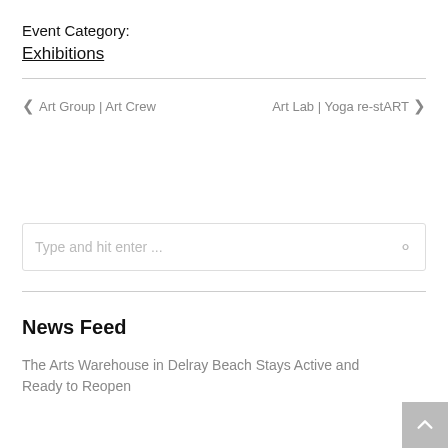Event Category:
Exhibitions
❮  Art Group | Art Crew
Art Lab | Yoga re-stART  ❯
Type and hit enter ...
News Feed
The Arts Warehouse in Delray Beach Stays Active and Ready to Reopen